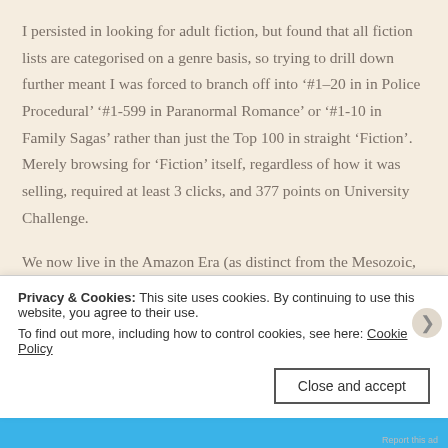I persisted in looking for adult fiction, but found that all fiction lists are categorised on a genre basis, so trying to drill down further meant I was forced to branch off into '#1–20 in in Police Procedural' '#1-599 in Paranormal Romance' or '#1-10 in Family Sagas' rather than just the Top 100 in straight 'Fiction'. Merely browsing for 'Fiction' itself, regardless of how it was selling, required at least 3 clicks, and 377 points on University Challenge.
We now live in the Amazon Era (as distinct from the Mesozoic, Protorezoic, or that time when everyone for some inexplicable reason wore flared trousers). This is the
Privacy & Cookies: This site uses cookies. By continuing to use this website, you agree to their use.
To find out more, including how to control cookies, see here: Cookie Policy
Close and accept